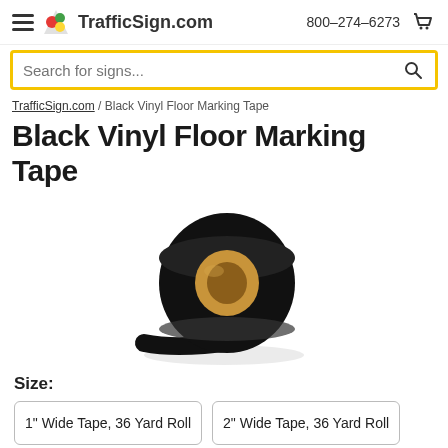TrafficSign.com  800-274-6273
Search for signs...
TrafficSign.com / Black Vinyl Floor Marking Tape
Black Vinyl Floor Marking Tape
[Figure (photo): A roll of black vinyl floor marking tape with a cardboard core, shown at an angle.]
Size:
1" Wide Tape, 36 Yard Roll
2" Wide Tape, 36 Yard Roll